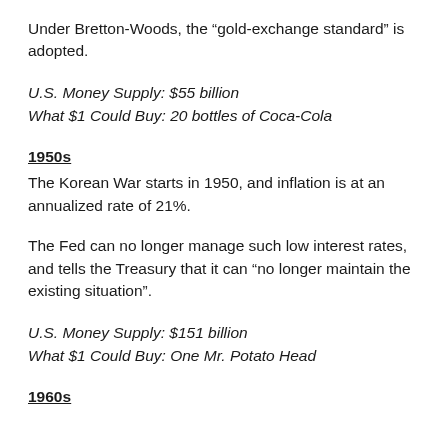Under Bretton-Woods, the “gold-exchange standard” is adopted.
U.S. Money Supply: $55 billion
What $1 Could Buy: 20 bottles of Coca-Cola
1950s
The Korean War starts in 1950, and inflation is at an annualized rate of 21%.
The Fed can no longer manage such low interest rates, and tells the Treasury that it can “no longer maintain the existing situation”.
U.S. Money Supply: $151 billion
What $1 Could Buy: One Mr. Potato Head
1960s